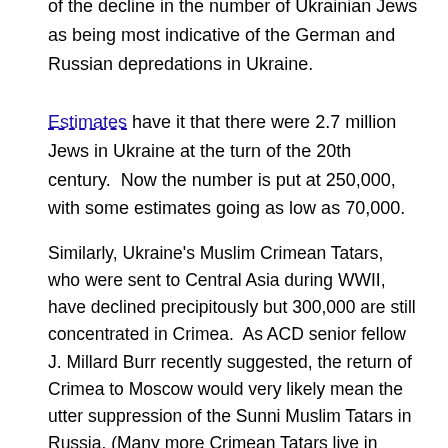of the decline in the number of Ukrainian Jews as being most indicative of the German and Russian depredations in Ukraine.
Estimates have it that there were 2.7 million Jews in Ukraine at the turn of the 20th century.  Now the number is put at 250,000, with some estimates going as low as 70,000.
Similarly, Ukraine's Muslim Crimean Tatars, who were sent to Central Asia during WWII, have declined precipitously but 300,000 are still concentrated in Crimea.  As ACD senior fellow J. Millard Burr recently suggested, the return of Crimea to Moscow would very likely mean the utter suppression of the Sunni Muslim Tatars in Russia. (Many more Crimean Tatars live in Central Asia and Turkey, incidentally. The Turkish government has spoken up for the Tatars in the Crimea in the past few days.)
Conflict promoted from outside, especially from Russia, has in the past turned Ukraine into such a violent mess that only an external authoritarian power could pacify it.